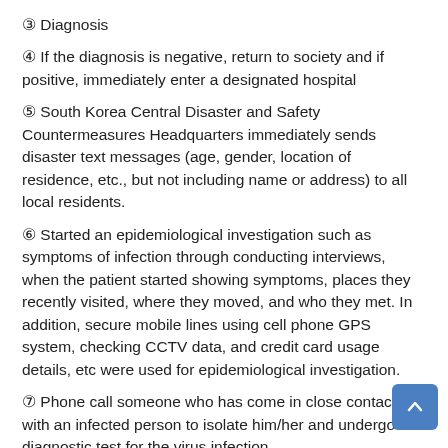③ Diagnosis
④ If the diagnosis is negative, return to society and if positive, immediately enter a designated hospital
⑤ South Korea Central Disaster and Safety Countermeasures Headquarters immediately sends disaster text messages (age, gender, location of residence, etc., but not including name or address) to all local residents.
⑥ Started an epidemiological investigation such as symptoms of infection through conducting interviews, when the patient started showing symptoms, places they recently visited, where they moved, and who they met. In addition, secure mobile lines using cell phone GPS system, checking CCTV data, and credit card usage details, etc were used for epidemiological investigation.
⑦ Phone call someone who has come in close contact with an infected person to isolate him/her and undergo diagnostic test for the virus infection.
⑧ Sending the disaster text messages again including age,